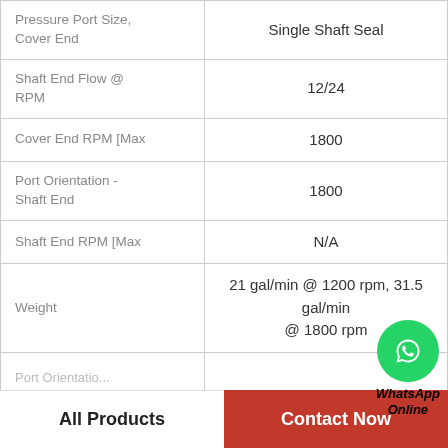| Property | Value |
| --- | --- |
| Pressure Port Size, Cover End | Single Shaft Seal |
| Shaft End Flow @ RPM | 12/24 |
| Cover End RPM [Max | 1800 |
| Port Orientation - Shaft End | 1800 |
| Shaft End RPM [Max | N/A |
| Weight | 21 gal/min @ 1200 rpm, 31.5 gal/min @ 1800 rpm |
| Port Orientation... |  |
[Figure (logo): WhatsApp Online button with green phone icon and italic bold text 'WhatsApp Online']
All Products | Contact Now